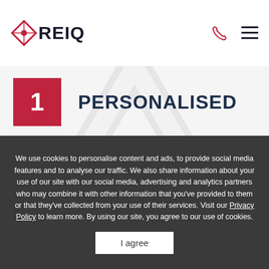REIQ
1 PERSONALISED
Access one-on-one support from our industry expert tutors to achieve your goals faster.
We use cookies to personalise content and ads, to provide social media features and to analyse our traffic. We also share information about your use of our site with our social media, advertising and analytics partners who may combine it with other information that you've provided to them or that they've collected from your use of their services. Visit our Privacy Policy to learn more. By using our site, you agree to our use of cookies.